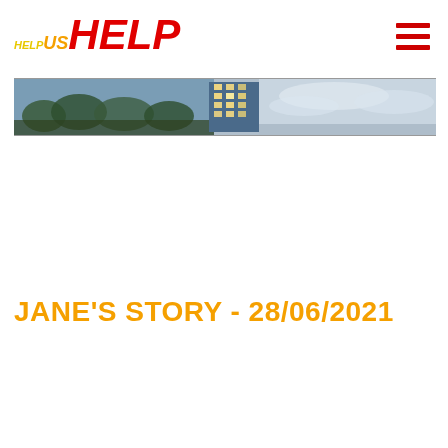HELP us HELP (logo) with hamburger menu icon
[Figure (photo): Wide panoramic banner photo showing a cityscape with a tall office/residential building lit up at night and trees/sky in the background, rendered in blue-grey tones.]
JANE'S STORY - 28/06/2021